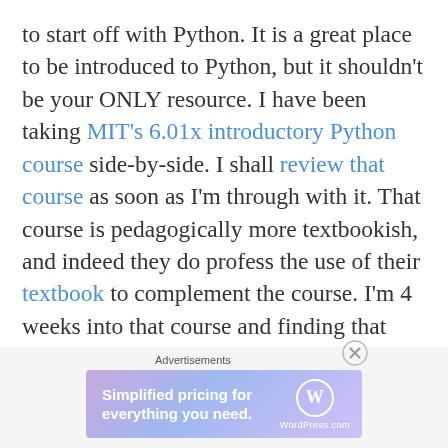to start off with Python. It is a great place to be introduced to Python, but it shouldn't be your ONLY resource. I have been taking MIT's 6.01x introductory Python course side-by-side. I shall review that course as soon as I'm through with it. That course is pedagogically more textbookish, and indeed they do profess the use of their textbook to complement the course. I'm 4 weeks into that course and finding that enjoyable too – albeit in a different way. I still haven't lost a point on any of the assignments or finger
[Figure (other): WordPress.com advertisement banner: 'Simplified pricing for everything you need.' with WordPress.com logo on gradient purple-blue background]